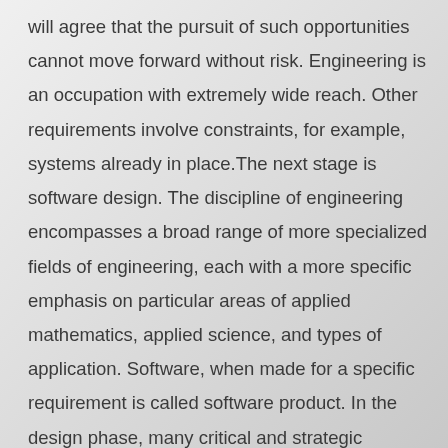will agree that the pursuit of such opportunities cannot move forward without risk. Engineering is an occupation with extremely wide reach. Other requirements involve constraints, for example, systems already in place.The next stage is software design. The discipline of engineering encompasses a broad range of more specialized fields of engineering, each with a more specific emphasis on particular areas of applied mathematics, applied science, and types of application. Software, when made for a specific requirement is called software product. In the design phase, many critical and strategic decisions are made to achieve the desired functionality and quality of the system. It was here